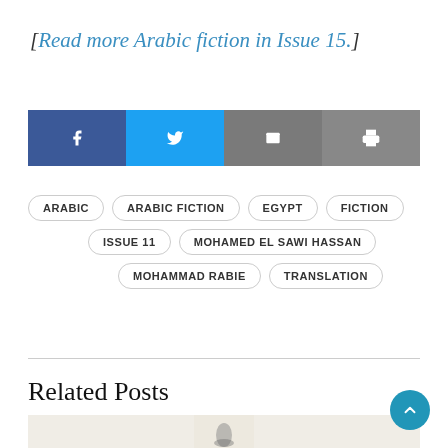[Read more Arabic fiction in Issue 15.]
[Figure (other): Social sharing buttons: Facebook (blue), Twitter (cyan), Email (grey), Print (dark grey)]
ARABIC
ARABIC FICTION
EGYPT
FICTION
ISSUE 11
MOHAMED EL SAWI HASSAN
MOHAMMAD RABIE
TRANSLATION
Related Posts
[Figure (photo): Partial image visible at bottom of page, beige/cream background with dark figure element]